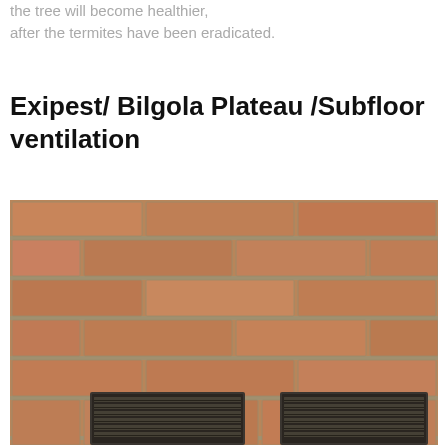the tree will become healthier, after the termites have been eradicated.
Exipest/ Bilgola Plateau /Subfloor ventilation
[Figure (photo): Photograph of a brick wall with two dark metal louvred subfloor ventilation grilles installed at the base.]